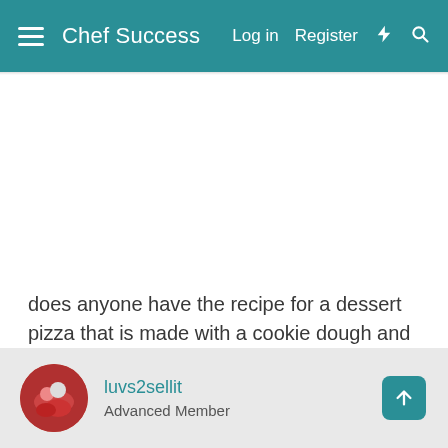Chef Success | Log in | Register
does anyone have the recipe for a dessert pizza that is made with a cookie dough and cream cheese and fruits on top I need help
Reply
luvs2sellit
Advanced Member